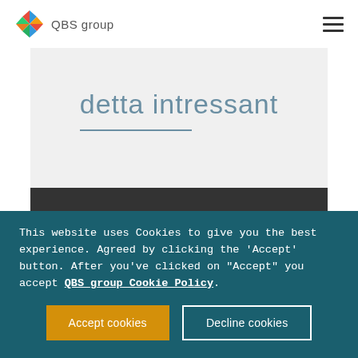QBS group
detta intressant
How to survive Mobilegeddon?
This website uses Cookies to give you the best experience. Agreed by clicking the 'Accept' button. After you've clicked on "Accept" you accept QBS group Cookie Policy.